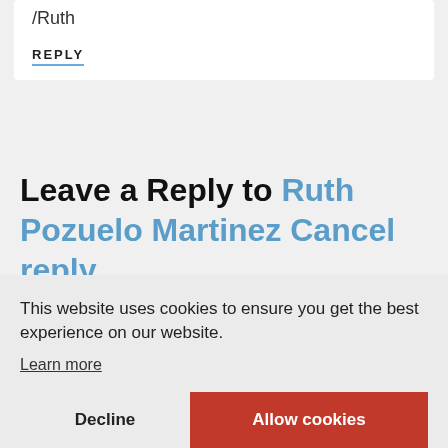/Ruth
REPLY
Leave a Reply to Ruth Pozuelo Martinez Cancel reply
This website uses cookies to ensure you get the best experience on our website.
Learn more
Decline
Allow cookies